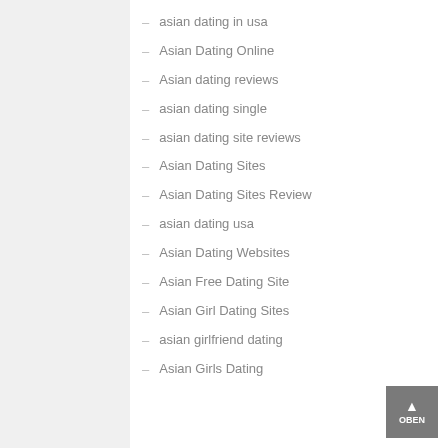– asian dating in usa
– Asian Dating Online
– Asian dating reviews
– asian dating single
– asian dating site reviews
– Asian Dating Sites
– Asian Dating Sites Review
– asian dating usa
– Asian Dating Websites
– Asian Free Dating Site
– Asian Girl Dating Sites
– asian girlfriend dating
– Asian Girls Dating